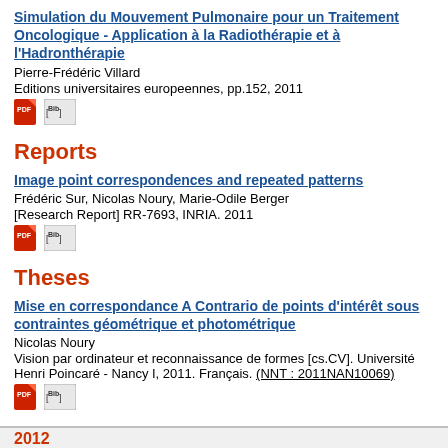Simulation du Mouvement Pulmonaire pour un Traitement Oncologique - Application à la Radiothérapie et à l'Hadronthérapie
Pierre-Frédéric Villard
Editions universitaires europeennes, pp.152, 2011
[Figure (other): PDF and BibTeX icons]
Reports
Image point correspondences and repeated patterns
Frédéric Sur, Nicolas Noury, Marie-Odile Berger
[Research Report] RR-7693, INRIA. 2011
[Figure (other): PDF and BibTeX icons]
Theses
Mise en correspondance A Contrario de points d'intérêt sous contraintes géométrique et photométrique
Nicolas Noury
Vision par ordinateur et reconnaissance de formes [cs.CV]. Université Henri Poincaré - Nancy I, 2011. Français. (NNT : 2011NAN10069)
[Figure (other): PDF and BibTeX icons]
2012